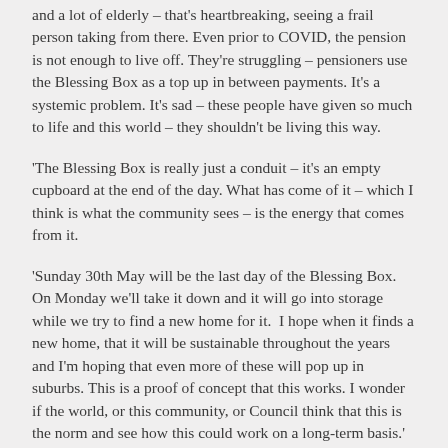and a lot of elderly – that's heartbreaking, seeing a frail person taking from there. Even prior to COVID, the pension is not enough to live off. They're struggling – pensioners use the Blessing Box as a top up in between payments. It's a systemic problem. It's sad – these people have given so much to life and this world – they shouldn't be living this way.
'The Blessing Box is really just a conduit – it's an empty cupboard at the end of the day. What has come of it – which I think is what the community sees – is the energy that comes from it.
'Sunday 30th May will be the last day of the Blessing Box. On Monday we'll take it down and it will go into storage while we try to find a new home for it. I hope when it finds a new home, that it will be sustainable throughout the years and I'm hoping that even more of these will pop up in suburbs. This is a proof of concept that this works. I wonder if the world, or this community, or Council think that this is the norm and see how this could work on a long-term basis.'